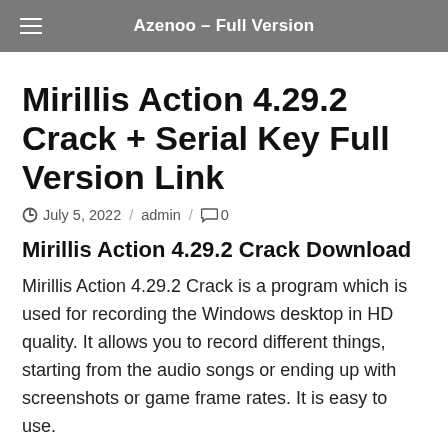Azenoo – Full Version
Mirillis Action 4.29.2 Crack + Serial Key Full Version Link
July 5, 2022 / admin / 0
Mirillis Action 4.29.2 Crack Download
Mirillis Action 4.29.2 Crack is a program which is used for recording the Windows desktop in HD quality. It allows you to record different things, starting from the audio songs or ending up with screenshots or game frame rates. It is easy to use.
[Figure (screenshot): Mirillis software logo/splash image showing the word Mirillis in red italic text on a dark blue/grey background]